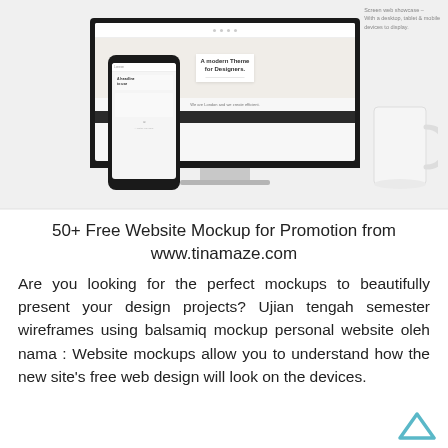[Figure (photo): Website mockup photo showing a desktop monitor, a smartphone, and a white coffee mug on a light grey background. The monitor displays a modern website theme. A small text label in the top-right reads 'Screen web showcase – With a desktop, tablet & mobile devices to display.']
50+ Free Website Mockup for Promotion from www.tinamaze.com
Are you looking for the perfect mockups to beautifully present your design projects? Ujian tengah semester wireframes using balsamiq mockup personal website oleh nama : Website mockups allow you to understand how the new site's free web design will look on the devices.